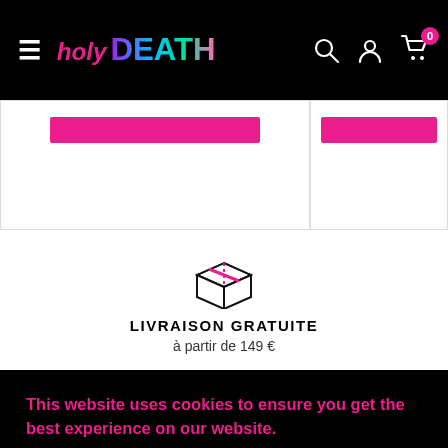holyDEATH — navigation bar with hamburger menu, logo, search, account, and cart (0 items)
[Figure (screenshot): Two product card buttons with magenta/pink background buttons, partially visible]
[Figure (illustration): Box/package icon with pink stripe on top, representing free shipping]
LIVRAISON GRATUITE
à partir de 149 €
This website uses cookies to ensure you get the best experience on our website.
Learn More
Got it!